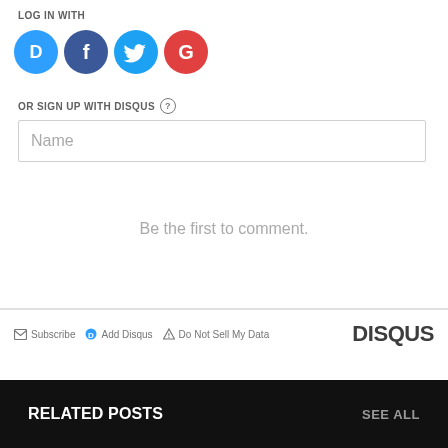LOG IN WITH
[Figure (illustration): Social login icons: Disqus (blue speech bubble with D), Facebook (blue circle with f), Twitter (blue circle with bird), Google (red circle with G)]
OR SIGN UP WITH DISQUS ?
Name
Be the first to comment.
Subscribe  Add Disqus  Do Not Sell My Data  DISQUS
RELATED POSTS
SEE ALL